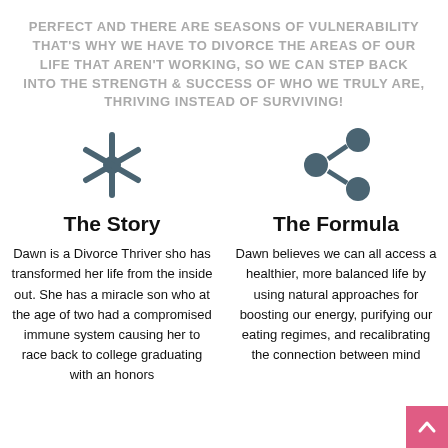PERFECT AND THERE ARE SEASONS OF VULNERABILITY THAT'S WHY WE HAVE TO DIVORCE THE AREAS OF OUR LIFE THAT AREN'T WORKING, SO WE CAN STEP BACK INTO THE STRENGTH & SUCCESS OF WHO WE TRULY ARE, THRIVING INSTEAD OF SURVIVING!
[Figure (illustration): Snowflake/asterisk icon in dark teal color representing The Story section]
The Story
Dawn is a Divorce Thriver sho has transformed her life from the inside out. She has a miracle son who at the age of two had a compromised immune system causing her to race back to college graduating with an honors
[Figure (illustration): Share/network icon in dark teal color representing The Formula section]
The Formula
Dawn believes we can all access a healthier, more balanced life by using natural approaches for boosting our energy, purifying our eating regimes, and recalibrating the connection between mind